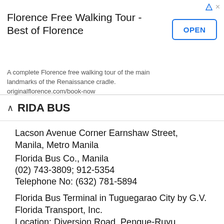[Figure (other): Advertisement banner for Florence Free Walking Tour app with OPEN button]
FLORIDA BUS
Lacson Avenue Corner Earnshaw Street, Manila, Metro Manila
Florida Bus Co., Manila
(02) 743-3809; 912-5354
Telephone No: (632) 781-5894
Florida Bus Terminal in Tuguegarao City by G.V. Florida Transport, Inc.
Location: Diversion Road, Pengue-Ruyu Tuguegarao City Cagayan Valley
Contact Numbers:
+63 (078) 846 4259; (078) 846-2265